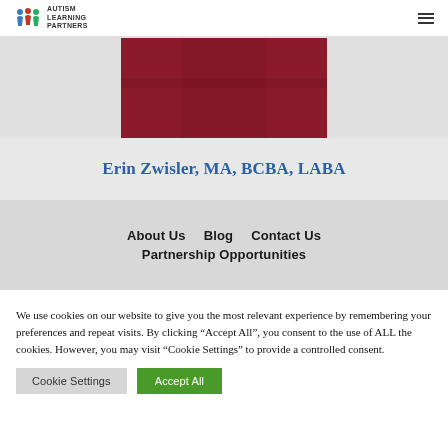Autism Learning Partners
[Figure (photo): Partial photo of a person wearing a dark red/maroon top, cropped showing torso area, on a grey background]
Erin Zwisler, MA, BCBA, LABA
About Us
Blog
Contact Us
Partnership Opportunities
We use cookies on our website to give you the most relevant experience by remembering your preferences and repeat visits. By clicking "Accept All", you consent to the use of ALL the cookies. However, you may visit "Cookie Settings" to provide a controlled consent.